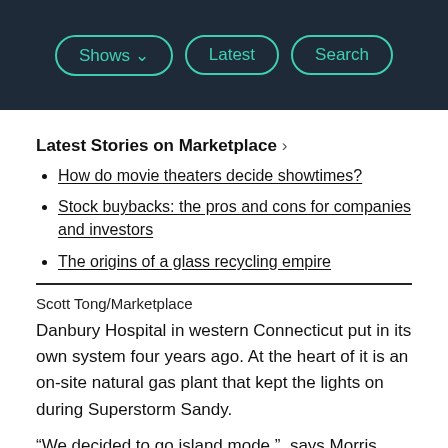Shows | Latest | Search
Latest Stories on Marketplace ›
How do movie theaters decide showtimes?
Stock buybacks: the pros and cons for companies and investors
The origins of a glass recycling empire
Scott Tong/Marketplace
Danbury Hospital in western Connecticut put in its own system four years ago. At the heart of it is an on-site natural gas plant that kept the lights on during Superstorm Sandy.
“We decided to go island mode,”  says Morris Gross, hospital facilities vice president. “And island mode